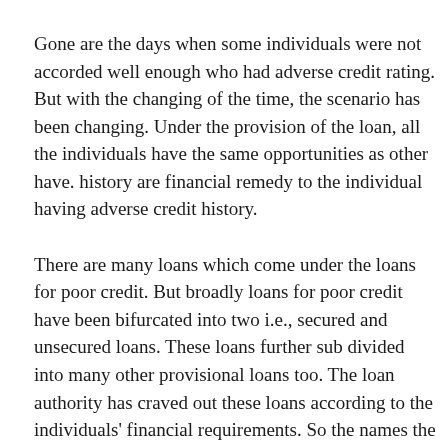Gone are the days when some individuals were not accorded well enough who had adverse credit rating. But with the changing of the time, the scenario has been changing. Under the provision of the loan, all the individuals have the same opportunities as other have. history are financial remedy to the individual having adverse credit history.
There are many loans which come under the loans for poor credit. But broadly loans for poor credit have been bifurcated into two i.e., secured and unsecured loans. These loans further sub divided into many other provisional loans too. The loan authority has craved out these loans according to the individuals' financial requirements. So the names the lending companies have termed as for the borrowers' convenience.